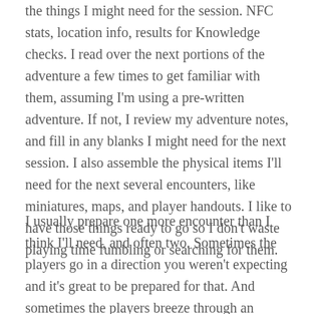the things I might need for the session. NFC stats, location info, results for Knowledge checks. I read over the next portions of the adventure a few times to get familiar with them, assuming I'm using a pre-written adventure. If not, I review my adventure notes, and fill in any blanks I might need for the next session. I also assemble the physical items I'll need for the next several encounters, like miniatures, maps, and player handouts. I like to have those things ready to go so I don't waste playing time fumbling or searching for them.
I usually prepare one more encounter than I think I'll need, and often two. Sometimes the players go in a direction you weren't expecting and it's great to be prepared for that. And sometimes the players breeze through an encounter you thought was going to take